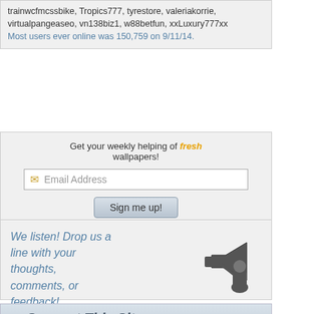trainwcfmcssbike, Tropics777, tyrestore, valeriakorrie, virtualpangeaseo, vn138biz1, w88betfun, xxLuxury777xx
Most users ever online was 150,759 on 9/11/14.
Get your weekly helping of fresh wallpapers!
Email Address
Sign me up!
We listen! Drop us a line with your thoughts, comments, or feedback!
[Figure (illustration): Person with megaphone illustration, black and white]
Support This Site
Desktop Nexus
Home
About Us
Popular Wallpapers
Popular Tags
Community Stats
Tags of the Moment
Pictures of Flowers
Garden Backgrounds
Church Wallpapers
Obama Images
Sunset Images
Recently Active
Sexy Pictures
Paint And Digital
Images of Brune
Wallpapers of Mo
White Images